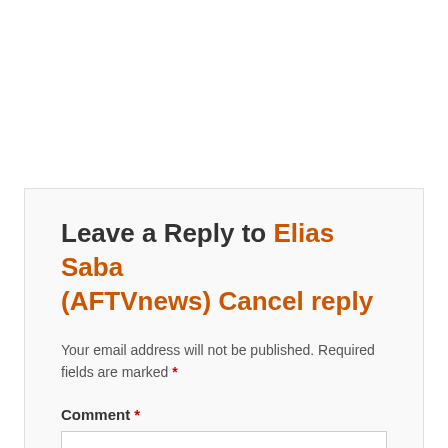Leave a Reply to Elias Saba (AFTVnews) Cancel reply
Your email address will not be published. Required fields are marked *
Comment *